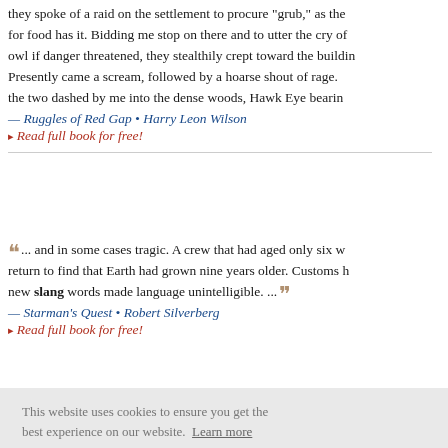they spoke of a raid on the settlement to procure "grub," as the [word] for food has it. Bidding me stop on there and to utter the cry of [an] owl if danger threatened, they stealthily crept toward the buildin[g]. Presently came a scream, followed by a hoarse shout of rage. [And] the two dashed by me into the dense woods, Hawk Eye bearin[g...]
— Ruggles of Red Gap • Harry Leon Wilson
▸ Read full book for free!
"... and in some cases tragic. A crew that had aged only six w[eeks would] return to find that Earth had grown nine years older. Customs h[ad changed,] new slang words made language unintelligible. ..."
— Starman's Quest • Robert Silverberg
▸ Read full book for free!
This website uses cookies to ensure you get the best experience on our website. Learn more
Got it!
e "electrifie[d]" She might lang and d[...] Stuyvesa[n...] [N]ew York[...]
Yet I doubt whether we have any more classic and revered ...